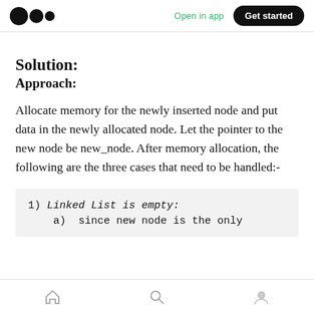Medium app header with logo, Open in app, Get started
Solution:
Approach:
Allocate memory for the newly inserted node and put data in the newly allocated node. Let the pointer to the new node be new_node. After memory allocation, the following are the three cases that need to be handled:-
1) Linked List is empty:
    a)  since new node is the only
Bottom navigation bar with home, search, and profile icons